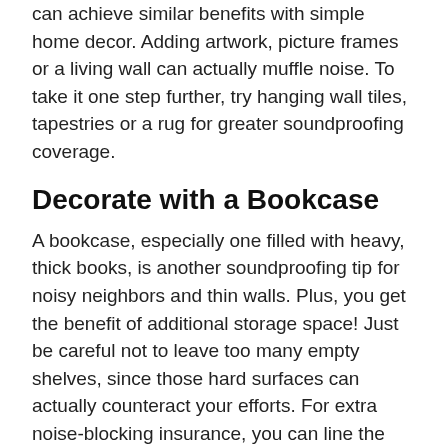can achieve similar benefits with simple home decor. Adding artwork, picture frames or a living wall can actually muffle noise. To take it one step further, try hanging wall tiles, tapestries or a rug for greater soundproofing coverage.
Decorate with a Bookcase
A bookcase, especially one filled with heavy, thick books, is another soundproofing tip for noisy neighbors and thin walls. Plus, you get the benefit of additional storage space! Just be careful not to leave too many empty shelves, since those hard surfaces can actually counteract your efforts. For extra noise-blocking insurance, you can line the wall behind your bookcase with a foam egg crate or other sound-absorbing material.
Go Thick on the Rugs
If you've got hardwood floors, rugs can help soften